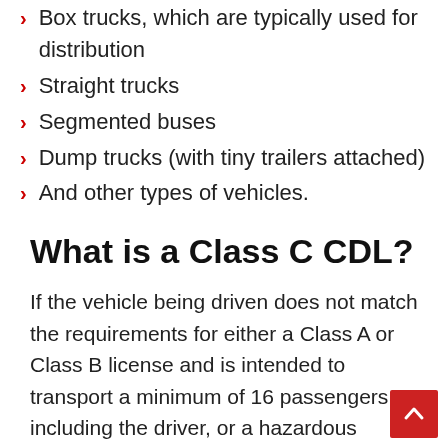Box trucks, which are typically used for distribution
Straight trucks
Segmented buses
Dump trucks (with tiny trailers attached)
And other types of vehicles.
What is a Class C CDL?
If the vehicle being driven does not match the requirements for either a Class A or Class B license and is intended to transport a minimum of 16 passengers, including the driver, or a hazardous substance, it will be classified as a Class C automobile. CDL drivers are also required to obtain additional